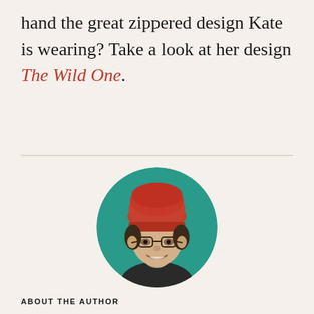hand the great zippered design Kate is wearing? Take a look at her design The Wild One.
[Figure (photo): Circular portrait photo of a person wearing an orange/red knit beanie hat and glasses, smiling, against a teal background]
ABOUT THE AUTHOR
Kate Atherley is Knitty.com's Managing Technical...